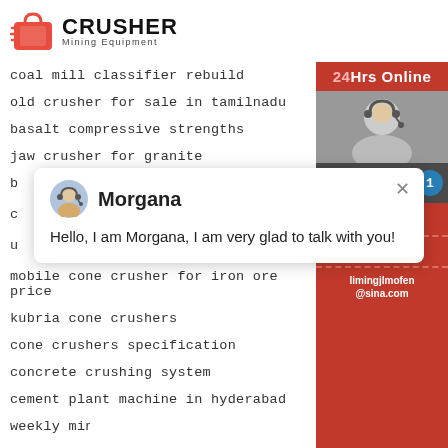[Figure (logo): Crusher Mining Equipment logo with red bag icon and bold CRUSHER text]
coal mill classifier rebuild
old crusher for sale in tamilnadu
basalt compressive strengths
jaw crusher for granite
b[truncated]
c[truncated]
u[truncated]
mobile cone crusher for iron ore price
kubria cone crushers
cone crushers specification
concrete crushing system
cement plant machine in hyderabad
weekly mining news[truncated]
[Figure (screenshot): Sidebar with 24Hrs Online badge, agent image, Need & suggestions box with chat bubble count 1, Chat Now button, Enquiry section, limingjlmofen@sina.com email]
[Figure (screenshot): Chat popup with Morgana avatar and greeting: Hello, I am Morgana, I am very glad to talk with you!]